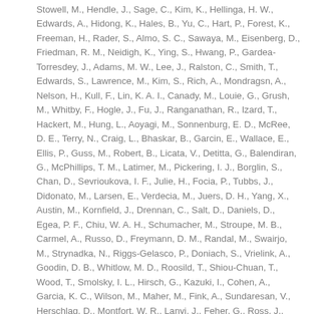Stowell, M., Hendle, J., Sage, C., Kim, K., Hellinga, H. W., Edwards, A., Hidong, K., Hales, B., Yu, C., Hart, P., Forest, K., Freeman, H., Rader, S., Almo, S. C., Sawaya, M., Eisenberg, D., Friedman, R. M., Neidigh, K., Ying, S., Hwang, P., Gardea-Torresdey, J., Adams, M. W., Lee, J., Ralston, C., Smith, T., Edwards, S., Lawrence, M., Kim, S., Rich, A., Mondragsn, A., Nelson, H., Kull, F., Lin, K. A. I., Canady, M., Louie, G., Grush, M., Whitby, F., Hogle, J., Fu, J., Ranganathan, R., Izard, T., Hackert, M., Hung, L., Aoyagi, M., Sonnenburg, E. D., McRee, D. E., Terry, N., Craig, L., Bhaskar, B., Garcin, E., Wallace, E., Ellis, P., Guss, M., Robert, B., Licata, V., Detitta, G., Balendiran, G., McPhillips, T. M., Latimer, M., Pickering, I. J., Borglin, S., Chan, D., Sevrioukova, I. F., Julie, H., Focia, P., Tubbs, J., Didonato, M., Larsen, E., Verdecia, M., Juers, D. H., Yang, X., Austin, M., Kornfield, J., Drennan, C., Salt, D., Daniels, D., Egea, P. F., Chiu, W. A. H., Schumacher, M., Stroupe, M. B., Carmel, A., Russo, D., Freymann, D. M., Randal, M., Swairjo, M., Strynadka, N., Riggs-Gelasco, P., Doniach, S., Vrielink, A., Goodin, D. B., Whitlow, M. D., Roosild, T., Shiou-Chuan, T., Wood, T., Smolsky, I. L., Hirsch, G., Kazuki, I., Cohen, A., Garcia, K. C., Wilson, M., Maher, M., Fink, A., Sundaresan, V., Herschlag, D., Montfort, W. R., Lanyi, J., Feher, G., Ross, J., Bjorkman, P., Baker, E., Brennan, R. G., Redinbo, M., Richard, S., Rosenzweig, A., Zhang,